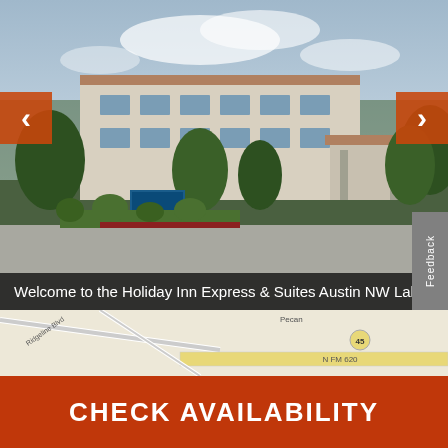[Figure (photo): Exterior photo of Holiday Inn Express & Suites Austin NW Lakeway hotel building with trees, signage, and parking lot. Orange navigation arrows on left and right.]
Welcome to the Holiday Inn Express & Suites Austin NW Lake
[Figure (map): Street map showing the hotel location near N FM 620 and Ridgeline Blvd, Austin NW Lakeway area.]
CHECK AVAILABILITY